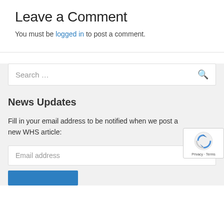Leave a Comment
You must be logged in to post a comment.
[Figure (screenshot): Search box with placeholder text 'Search ...' and a search icon on the right]
News Updates
Fill in your email address to be notified when we post a new WHS article:
[Figure (screenshot): Email address input field with placeholder 'Email address']
[Figure (screenshot): reCAPTCHA badge with logo and Privacy - Terms links]